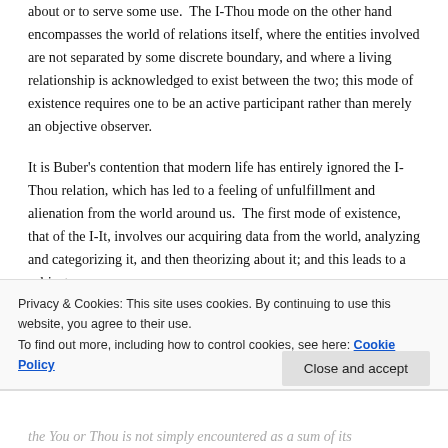about or to serve some use.  The I-Thou mode on the other hand encompasses the world of relations itself, where the entities involved are not separated by some discrete boundary, and where a living relationship is acknowledged to exist between the two; this mode of existence requires one to be an active participant rather than merely an objective observer.
It is Buber's contention that modern life has entirely ignored the I-Thou relation, which has led to a feeling of unfulfillment and alienation from the world around us. The first mode of existence, that of the I-It, involves our acquiring data from the world, analyzing and categorizing it, and then theorizing about it; and this leads to a subject-
Privacy & Cookies: This site uses cookies. By continuing to use this website, you agree to their use.
To find out more, including how to control cookies, see here: Cookie Policy
the You or Thou is not simply encountered as a sum of its